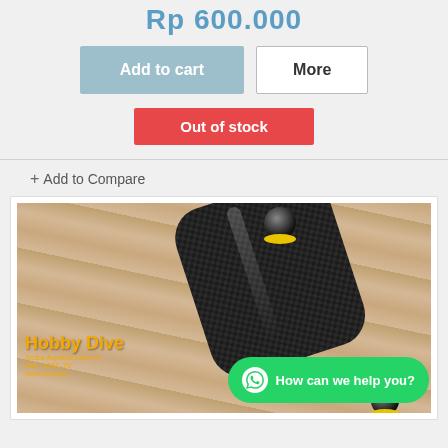Rp 600.000
Add to cart
More
Out of stock
+ Add to Compare
[Figure (photo): A black carbon fiber diving tool/handle with yellow ring and ball top, displayed on a wooden surface. Hobby Dive watermark visible. WhatsApp chat button overlay reading 'How can we help you?']